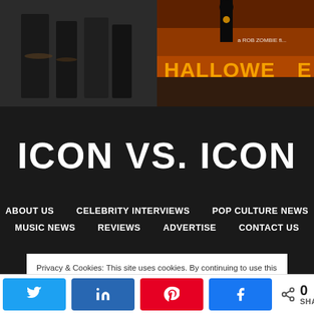[Figure (photo): Two-panel movie image strip at top: left panel shows figures in dark clothing with chains (western/action movie), right panel shows Halloween movie poster with orange fire background and text 'a ROB ZOMBIE fi...' and 'HALLOWEEN']
ICON VS. ICON
ABOUT US   CELEBRITY INTERVIEWS   POP CULTURE NEWS   MUSIC NEWS   REVIEWS   ADVERTISE   CONTACT US
Privacy & Cookies: This site uses cookies. By continuing to use this website, you agree to their use.
To find out more, including how to control cookies, see here: Cookie Policy
0 SHARES